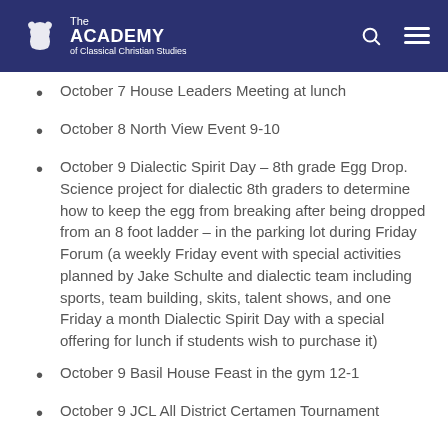The Academy of Classical Christian Studies
October 7 House Leaders Meeting at lunch
October 8 North View Event 9-10
October 9 Dialectic Spirit Day – 8th grade Egg Drop. Science project for dialectic 8th graders to determine how to keep the egg from breaking after being dropped from an 8 foot ladder – in the parking lot during Friday Forum (a weekly Friday event with special activities planned by Jake Schulte and dialectic team including sports, team building, skits, talent shows, and one Friday a month Dialectic Spirit Day with a special offering for lunch if students wish to purchase it)
October 9 Basil House Feast in the gym 12-1
October 9 JCL All District Certamen Tournament